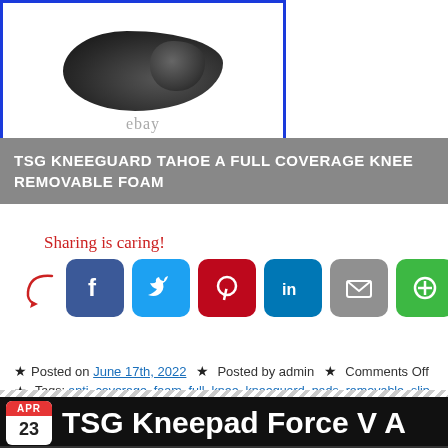[Figure (photo): Product photo of knee pads on eBay — dark colored knee guards shown against white background with 'ebay' watermark]
TSG KNEEGUARD TAHOE A FULL COVERAGE KNEE REMOVABLE FOAM
[Figure (infographic): Sharing is caring! social share buttons: Facebook, Twitter, Pinterest, LinkedIn, Email, More]
Posted on June 17th, 2022  ★  Posted by admin  ★  Comments Off  ★
Tags: anti, coverage, foam, full, knee, kneeguard, pads, removable, slip, tahoe
[Figure (screenshot): TSG Kneepad Force V A — article preview with date APR 23 and bottom social share bar]